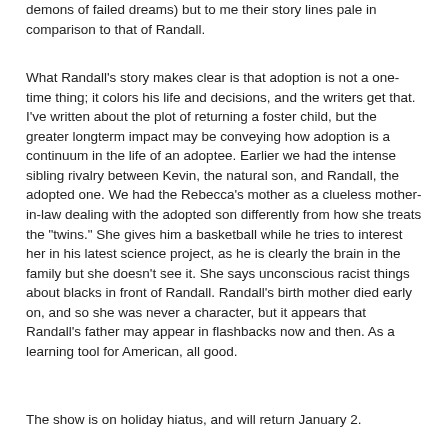demons of failed dreams) but to me their story lines pale in comparison to that of Randall.
What Randall's story makes clear is that adoption is not a one-time thing; it colors his life and decisions, and the writers get that. I've written about the plot of returning a foster child, but the greater longterm impact may be conveying how adoption is a continuum in the life of an adoptee. Earlier we had the intense sibling rivalry between Kevin, the natural son, and Randall, the adopted one. We had the Rebecca's mother as a clueless mother-in-law dealing with the adopted son differently from how she treats the "twins." She gives him a basketball while he tries to interest her in his latest science project, as he is clearly the brain in the family but she doesn't see it. She says unconscious racist things about blacks in front of Randall. Randall's birth mother died early on, and so she was never a character, but it appears that Randall's father may appear in flashbacks now and then. As a learning tool for American, all good.
The show is on holiday hiatus, and will return January 2.